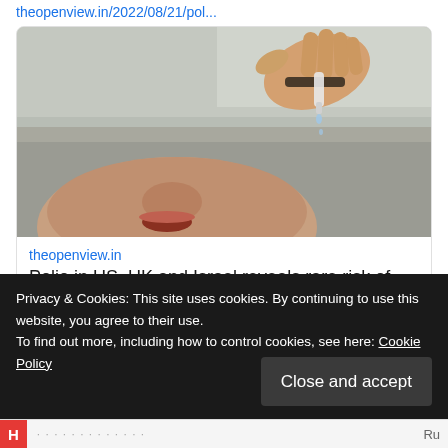theopenview.in/2022/08/21/pol...
[Figure (photo): A hand holding a dropper administering oral polio vaccine drops into a child's open mouth, with a blurred outdoor background.]
theopenview.in
Polio in US, UK and Israel reveals rare risk of oral vaccine.
PARVEEN KUMAR
Privacy & Cookies: This site uses cookies. By continuing to use this website, you agree to their use.
To find out more, including how to control cookies, see here: Cookie Policy
Close and accept